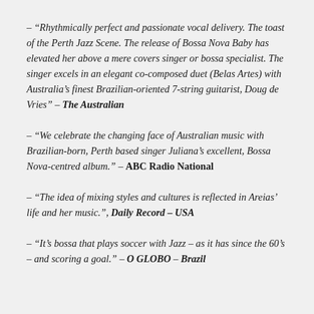– “Rhythmically perfect and passionate vocal delivery. The toast of the Perth Jazz Scene. The release of Bossa Nova Baby has elevated her above a mere covers singer or bossa specialist. The singer excels in an elegant co-composed duet (Belas Artes) with Australia’s finest Brazilian-oriented 7-string guitarist, Doug de Vries” – The Australian
– “We celebrate the changing face of Australian music with Brazilian-born, Perth based singer Juliana’s excellent, Bossa Nova-centred album.” – ABC Radio National
– “The idea of mixing styles and cultures is reflected in Areias’ life and her music.”, Daily Record – USA
– “It’s bossa that plays soccer with Jazz – as it has since the 60’s – and scoring a goal.” – O GLOBO – Brazil